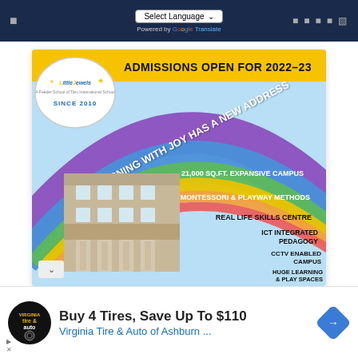Select Language | Powered by Google Translate
[Figure (infographic): Little Jewels school admissions open for 2022-23 advertisement. Features rainbow arcs with text: ADMISSIONS OPEN FOR 2022-23, LEARNING WITH JOY HAS A NEW ADDRESS, 21,000 SQ.FT. EXPANSIVE CAMPUS, MONTESSORI & PLAYWAY METHODS, REAL LIFE SKILLS CENTRE, ICT INTEGRATED PEDAGOGY, CCTV ENABLED CAMPUS, HUGE LEARNING & PLAY SPACES. School building illustration and Little Jewels logo with SINCE 2010.]
Buy 4 Tires, Save Up To $110
Virginia Tire & Auto of Ashburn ...